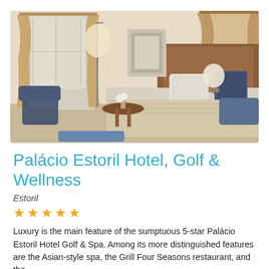[Figure (photo): Interior photo of a luxury hotel room featuring a large bed with ornate wooden headboard, floral pillows, gold/cream drapes, a sitting area with patterned armchairs, a small round table, lamp, and framed artwork on the wall.]
Palácio Estoril Hotel, Golf & Wellness
Estoril
★★★★★
Luxury is the main feature of the sumptuous 5-star Palácio Estoril Hotel Golf & Spa. Among its more distinguished features are the Asian-style spa, the Grill Four Seasons restaurant, and the...